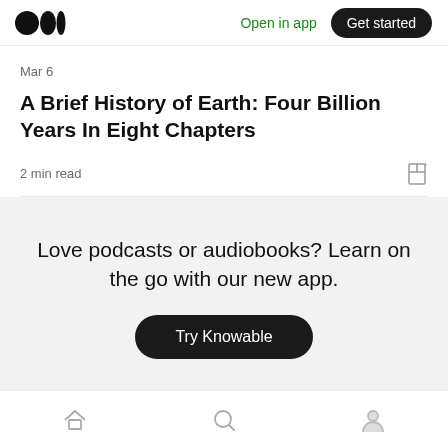Medium logo | Open in app | Get started
Mar 6
A Brief History of Earth: Four Billion Years In Eight Chapters
2 min read
Love podcasts or audiobooks? Learn on the go with our new app.
Try Knowable
Home | Search | Profile